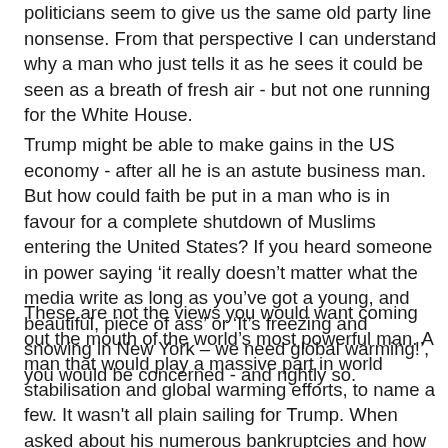politicians seem to give us the same old party line nonsense. From that perspective I can understand why a man who just tells it as he sees it could be seen as a breath of fresh air - but not one running for the White House.
Trump might be able to make gains in the US economy - after all he is an astute business man. But how could faith be put in a man who is in favour for a complete shutdown of Muslims entering the United States? If you heard someone in power saying ‘it really doesn’t matter what the media write as long as you’ve got a young, and beautiful, piece of ass’ or ‘It’s freezing and snowing in New York – we need global warming!’, you would be concerned - and rightly so.
These are not the views you would want coming out the mouth of the world’s most powerful man. A man that would play a massive part in world stabilisation and global warming efforts, to name a few. It wasn't all plain sailing for Trump. When asked about his numerous bankruptcies and how that affected him, he replied "I came out great, but I guess I'm supposed to come out great. That's what I'm supposed to do for the country," he said. "We owe $19 trillion. Boy, am I good at solving debt. Believe me."